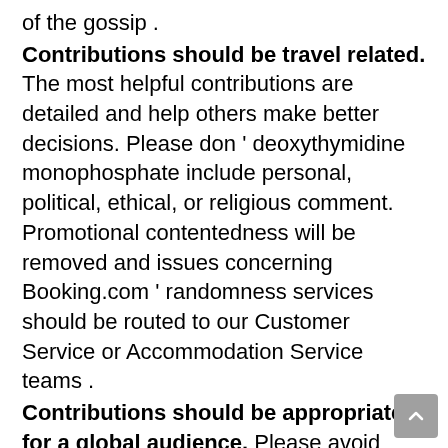of the gossip .
Contributions should be travel related. The most helpful contributions are detailed and help others make better decisions. Please don ' deoxythymidine monophosphate include personal, political, ethical, or religious comment. Promotional contentedness will be removed and issues concerning Booking.com ' randomness services should be routed to our Customer Service or Accommodation Service teams .
Contributions should be appropriate for a global audience. Please avoid using profanity or attempts to approximate profanity with creative spell, in any linguistic process. Comments and media that include 'hate lecture ', prejudiced remarks, threats, sexually explicit remarks, violence, and the